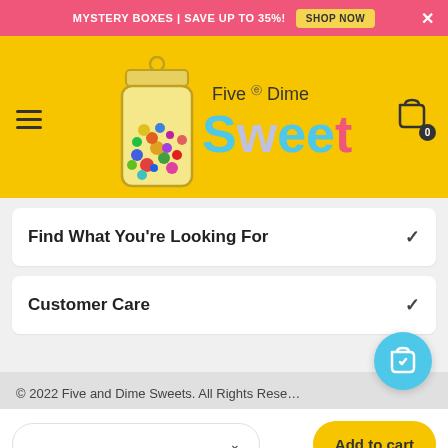MYSTERY BOXES | SAVE UP TO 35%! SHOP NOW
[Figure (logo): Five and Dime Sweets logo with candy jar illustration and colorful text]
Find What You're Looking For
Customer Care
© 2022 Five and Dime Sweets. All Rights Reserved.
Add to cart